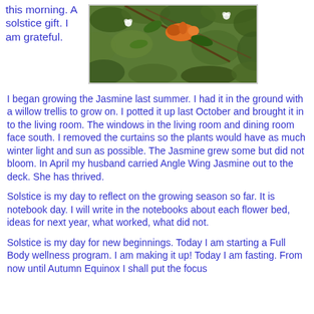this morning. A solstice gift. I am grateful.
[Figure (photo): Close-up photo of jasmine plant with orange flower/bird and green leaves on branches against blurred green background]
I began growing the Jasmine last summer. I had it in the ground with a willow trellis to grow on. I potted it up last October and brought it in to the living room. The windows in the living room and dining room face south. I removed the curtains so the plants would have as much winter light and sun as possible. The Jasmine grew some but did not bloom. In April my husband carried Angle Wing Jasmine out to the deck. She has thrived.
Solstice is my day to reflect on the growing season so far. It is notebook day. I will write in the notebooks about each flower bed, ideas for next year, what worked, what did not.
Solstice is my day for new beginnings. Today I am starting a Full Body wellness program. I am making it up! Today I am fasting. From now until Autumn Equinox I shall put the focus